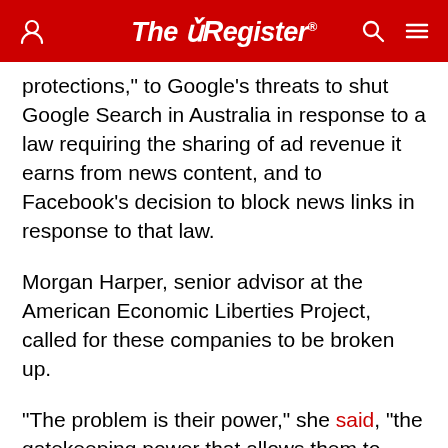The Register
protections," to Google's threats to shut Google Search in Australia in response to a law requiring the sharing of ad revenue it earns from news content, and to Facebook's decision to block news links in response to that law.
Morgan Harper, senior advisor at the American Economic Liberties Project, called for these companies to be broken up.
"The problem is their power," she said, "the gatekeeping power that allows them to manipulate their users, profit off of data, and squash competition. And the only way that we will be able to stop that is not through individual regulation like interoperability, or non-discrimination, or